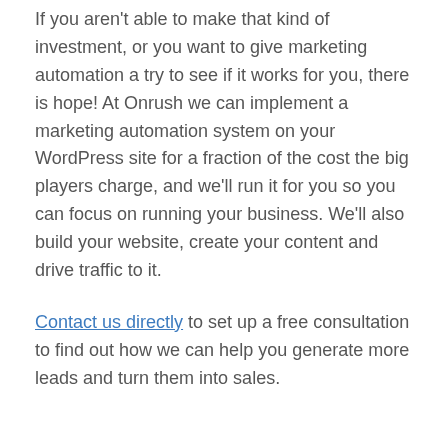If you aren't able to make that kind of investment, or you want to give marketing automation a try to see if it works for you, there is hope! At Onrush we can implement a marketing automation system on your WordPress site for a fraction of the cost the big players charge, and we'll run it for you so you can focus on running your business. We'll also build your website, create your content and drive traffic to it.
Contact us directly to set up a free consultation to find out how we can help you generate more leads and turn them into sales.